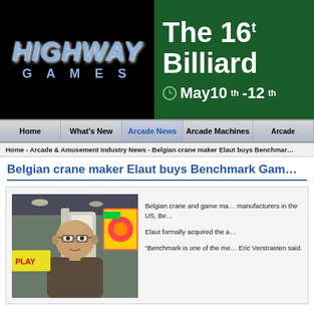[Figure (logo): Highway Games logo on black background with stylized blue text]
[Figure (infographic): Green banner ad: The 16th Billiard [something], May 10th-12th]
Home | What's New | Arcade News | Arcade Machines | Arcade...
Home - Arcade & Amusement Industry News - Belgian crane maker Elaut buys Benchmar...
Belgian crane maker Elaut buys Benchmark Gam...
[Figure (photo): Photo of a bald man with glasses at what appears to be a trade show or arcade expo]
Belgian crane and game ma... manufacturers in the US, Be...

Elaut formally acquired the a...

"Benchmark is one of the me... Eric Verstraeten said.